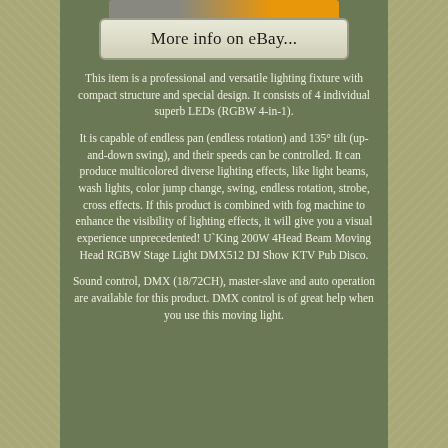[Figure (screenshot): eBay button with orange and grey styling at the very top, partially cropped]
[Figure (screenshot): Button labeled 'More info on eBay...' with light grey/beige background and rounded border]
This item is a professional and versatile lighting fixture with compact structure and special design. It consists of 4 individual superb LEDs (RGBW 4-in-1).
It is capable of endless pan (endless rotation) and 135° tilt (up-and-down swing), and their speeds can be controlled. It can produce multicolored diverse lighting effects, like light beams, wash lights, color jump change, swing, endless rotation, strobe, cross effects. If this product is combined with fog machine to enhance the visibility of lighting effects, it will give you a visual experience unprecedented! U`King 200W 4Head Beam Moving Head RGBW Stage Light DMX512 DJ Show KTV Pub Disco.
Sound control, DMX (18/72CH), master-slave and auto operation are available for this product. DMX control is of great help when you use this moving light.